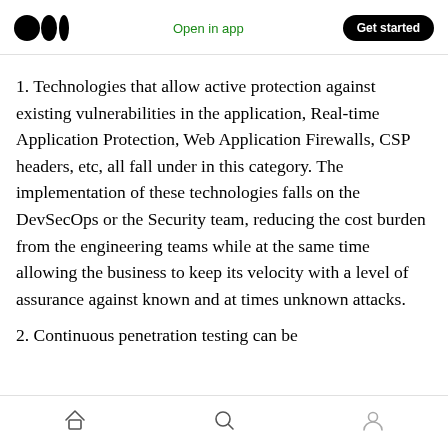Medium logo | Open in app | Get started
1. Technologies that allow active protection against existing vulnerabilities in the application, Real-time Application Protection, Web Application Firewalls, CSP headers, etc, all fall under in this category. The implementation of these technologies falls on the DevSecOps or the Security team, reducing the cost burden from the engineering teams while at the same time allowing the business to keep its velocity with a level of assurance against known and at times unknown attacks.
2. Continuous penetration testing can be